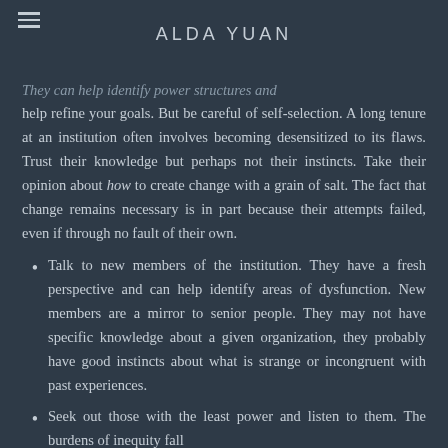ALDA YUAN
They can help identify power structures and help refine your goals. But be careful of self-selection. A long tenure at an institution often involves becoming desensitized to its flaws. Trust their knowledge but perhaps not their instincts. Take their opinion about how to create change with a grain of salt. The fact that change remains necessary is in part because their attempts failed, even if through no fault of their own.
Talk to new members of the institution. They have a fresh perspective and can help identify areas of dysfunction. New members are a mirror to senior people. They may not have specific knowledge about a given organization, they probably have good instincts about what is strange or incongruent with past experiences.
Seek out those with the least power and listen to them. The burdens of inequity fall